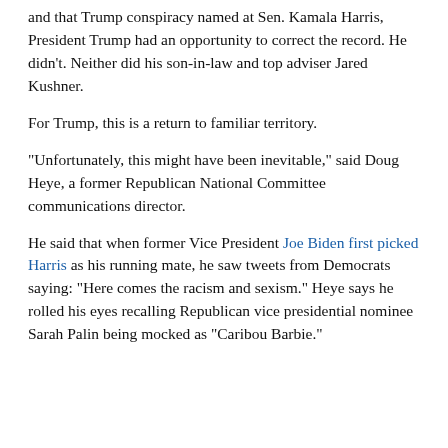and that Trump conspiracy named at Sen. Kamala Harris, President Trump had an opportunity to correct the record. He didn't. Neither did his son-in-law and top adviser Jared Kushner.
For Trump, this is a return to familiar territory.
"Unfortunately, this might have been inevitable," said Doug Heye, a former Republican National Committee communications director.
He said that when former Vice President Joe Biden first picked Harris as his running mate, he saw tweets from Democrats saying: "Here comes the racism and sexism." Heye says he rolled his eyes recalling Republican vice presidential nominee Sarah Palin being mocked as "Caribou Barbie."